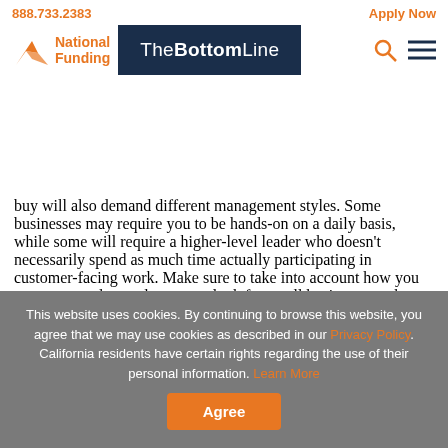888.733.2383    Apply Now
[Figure (logo): National Funding logo with orange bird/wing icon and orange and dark blue text]
[Figure (logo): TheBottomLine banner in dark navy background with white text]
buy will also demand different management styles. Some businesses may require you to be hands-on on a daily basis, while some will require a higher-level leader who doesn't necessarily spend as much time actually participating in customer-facing work. Make sure to take into account how you want to spend your day as you look for small businesses to buy.
This website uses cookies. By continuing to browse this website, you agree that we may use cookies as described in our Privacy Policy. California residents have certain rights regarding the use of their personal information. Learn More
Agree